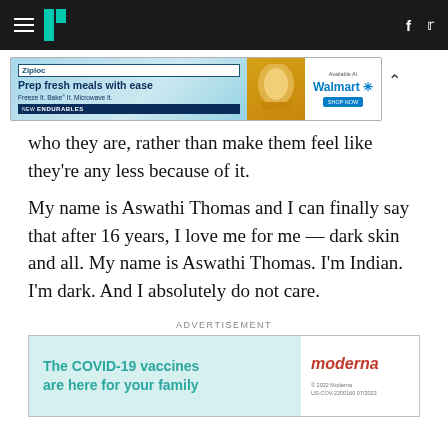HuffPost navigation bar with hamburger menu, logo, Facebook and Twitter icons
[Figure (screenshot): Ziploc advertisement banner: 'Prep fresh meals with ease – Freeze It. Bake It. Microwave It. NEW ENDURABLES' with Walmart branding]
who they are, rather than make them feel like they're any less because of it.
My name is Aswathi Thomas and I can finally say that after 16 years, I love me for me — dark skin and all. My name is Aswathi Thomas. I'm Indian. I'm dark. And I absolutely do not care.
ADVERTISEMENT
[Figure (screenshot): Moderna advertisement: 'The COVID-19 vaccines are here for your family' with Moderna logo and legal text '© 2022 Moderna US-COV-2200160 07/2022']